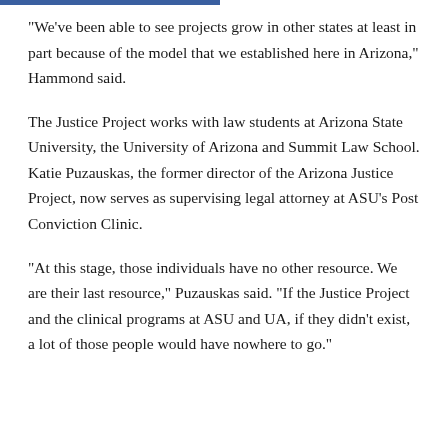“We’ve been able to see projects grow in other states at least in part because of the model that we established here in Arizona,” Hammond said.
The Justice Project works with law students at Arizona State University, the University of Arizona and Summit Law School. Katie Puzauskas, the former director of the Arizona Justice Project, now serves as supervising legal attorney at ASU’s Post Conviction Clinic.
“At this stage, those individuals have no other resource. We are their last resource,” Puzauskas said. “If the Justice Project and the clinical programs at ASU and UA, if they didn’t exist, a lot of those people would have nowhere to go.”